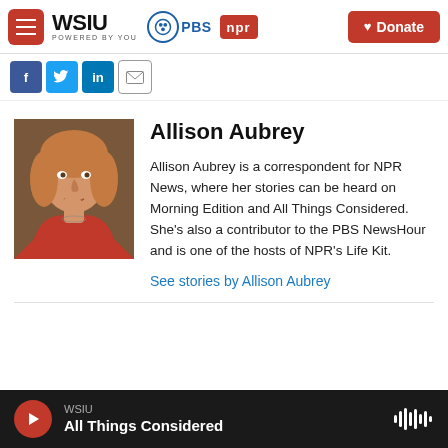[Figure (screenshot): WSIU website header with hamburger menu, WSIU logo, PBS and NPR logos, and a red Donate button]
[Figure (infographic): Social sharing icons: Facebook, Twitter, LinkedIn, Email]
[Figure (photo): Headshot photo of Allison Aubrey, a woman with reddish-blonde hair wearing a red top, posed with hand near chin]
Allison Aubrey
Allison Aubrey is a correspondent for NPR News, where her stories can be heard on Morning Edition and All Things Considered. She's also a contributor to the PBS NewsHour and is one of the hosts of NPR's Life Kit.
See stories by Allison Aubrey
WSIU
All Things Considered